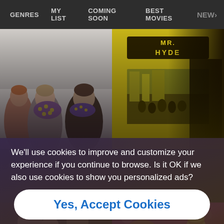GENRES  MY LIST  COMING SOON  BEST MOVIES  NEW>
[Figure (screenshot): Movie streaming website screenshot showing a cookie consent banner overlay over movie thumbnails. Top navigation bar with genre links. Two movie thumbnails visible: a comedy/drama with three people and a person with a patterned scarf, and a yellow vintage Mr. Hyde movie poster. Cookie consent overlay text and accept button. Bottom row of movie thumbnails partially visible.]
We'll use cookies to improve and customize your experience if you continue to browse. Is it OK if we also use cookies to show you personalized ads?
Yes, Accept Cookies